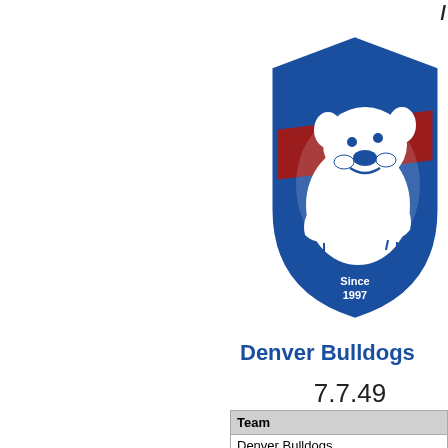[Figure (logo): Denver Bulldogs team logo: a bulldog mascot on a blue shield with red stripe, text 'Since 1997']
Denver Bulldogs
7.7.49
| Team |
| --- |
| Denver Bulldogs |
| San Diego Lions |
| Denver Bulldogs |
| --- |